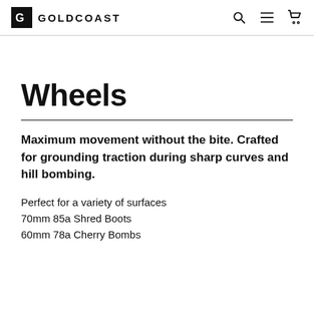GOLDCOAST
Wheels
Maximum movement without the bite. Crafted for grounding traction during sharp curves and hill bombing.
Perfect for a variety of surfaces
70mm 85a Shred Boots
60mm 78a Cherry Bombs